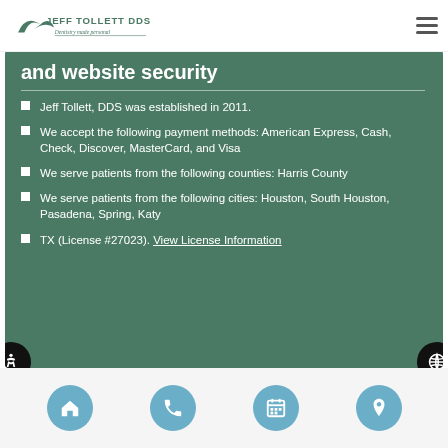Jeff Tollett DDS — Dentistry made personal
and website security
Jeff Tollett, DDS was established in 2011.
We accept the following payment methods: American Express, Cash, Check, Discover, MasterCard, and Visa
We serve patients from the following counties: Harris County
We serve patients from the following cities: Houston, South Houston, Pasadena, Spring, Katy
TX (License #27023). View License Information
Home | Phone | Calendar | Location